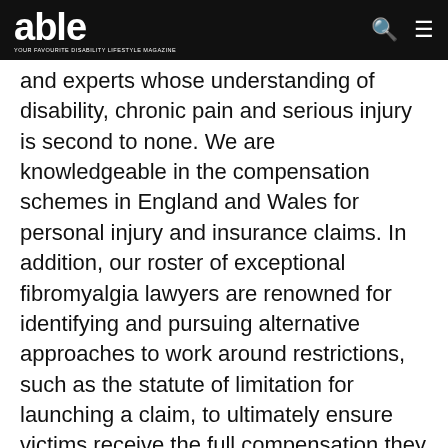able — YOUR FAVOURITE DISABILITY LIFESTYLE MAGAZINE
and experts whose understanding of disability, chronic pain and serious injury is second to none. We are knowledgeable in the compensation schemes in England and Wales for personal injury and insurance claims. In addition, our roster of exceptional fibromyalgia lawyers are renowned for identifying and pursuing alternative approaches to work around restrictions, such as the statute of limitation for launching a claim, to ultimately ensure victims receive the full compensation they deserve.
If you are suffering from fibromyalgia, CRPS, or any chronic pain condition as a result of an accident that was not your fault, and even if you have an existing claim in progress with Brian R...